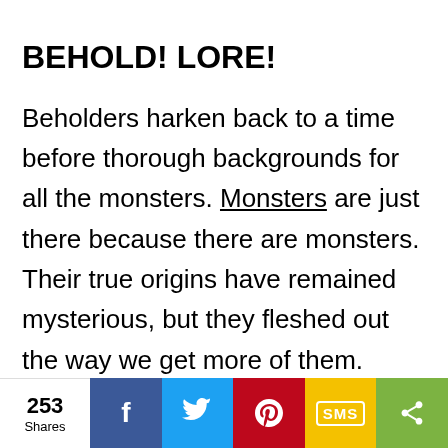BEHOLD! LORE!
Beholders harken back to a time before thorough backgrounds for all the monsters. Monsters are just there because there are monsters. Their true origins have remained mysterious, but they fleshed out the way we get more of them. Beholder magic warps reality around them in weird ways, especially in their dreams. When a beholder dreams of another beholder, a new one pops into
253 Shares | f | Twitter | Pinterest | SMS | Share